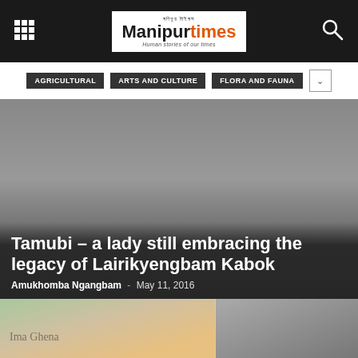Manipur Times – Human stories of our times
AGRICULTURAL  ARTS AND CULTURE  FLORA AND FAUNA
[Figure (photo): Hero image with gradient gray background, article title overlay: 'Tamubi – a lady still embracing the legacy of Lairikyengbam Kabok', byline: Amukhomba Ngangbam, May 11, 2016]
[Figure (photo): Bottom strip showing two photos side by side: left photo shows a person with decorations, right photo is a gray/blurred image]